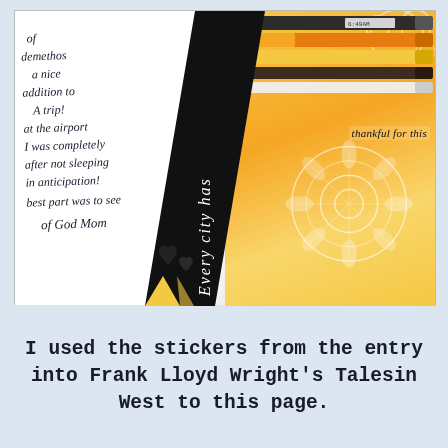[Figure (photo): A photo of an open journal/scrapbook page. The left side shows handwritten cursive text on white paper. A diagonal black banner runs through the middle with decorative text and hearts. The right side features a yellow-orange background with a white mandala pattern and colored pencils or markers stacked at the top.]
I used the stickers from the entry into Frank Lloyd Wright's Talesin West to this page.